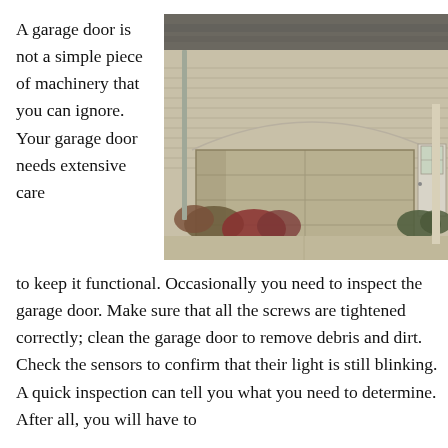A garage door is not a simple piece of machinery that you can ignore. Your garage door needs extensive care to keep it functional. Occasionally you need to inspect the garage door. Make sure that all the screws are tightened correctly; clean the garage door to remove debris and dirt. Check the sensors to confirm that their light is still blinking. A quick inspection can tell you what you need to determine. After all, you will have to
[Figure (photo): Exterior photo of a house with a large tan/beige single-car garage door set in a brick facade, with shrubs and plants in front, and a side entry door visible to the right.]